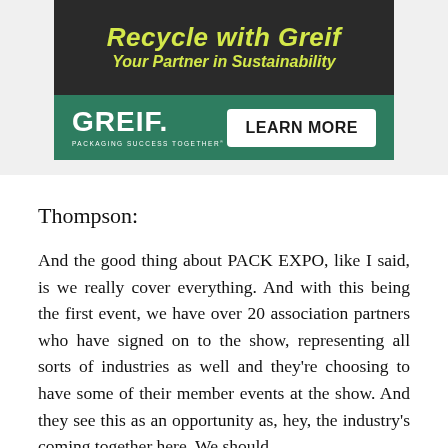[Figure (other): Greif advertisement banner. Top section dark background with yellow-green italic text 'Recycle with Greif / Your Partner in Sustainability'. Bottom section green background with white GREIF logo and tagline 'PACKAGING SUCCESS TOGETHER' on the left, and a white 'LEARN MORE' button on the right.]
Thompson:
And the good thing about PACK EXPO, like I said, is we really cover everything. And with this being the first event, we have over 20 association partners who have signed on to the show, representing all sorts of industries as well and they're choosing to have some of their member events at the show. And they see this as an opportunity as, hey, the industry's coming together here. We should